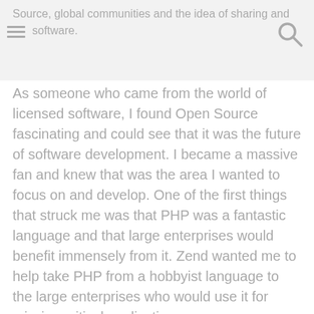Source, global communities and the idea of sharing and software.
As someone who came from the world of licensed software, I found Open Source fascinating and could see that it was the future of software development. I became a massive fan and knew that was the area I wanted to focus on and develop. One of the first things that struck me was that PHP was a fantastic language and that large enterprises would benefit immensely from it. Zend wanted me to help take PHP from a hobbyist language to the large enterprises who would use it for mission critical applications.
That's when I called Paul Wander, who was with me at Sapiens, and who had a great eye in identifying new trends and emerging technologies.